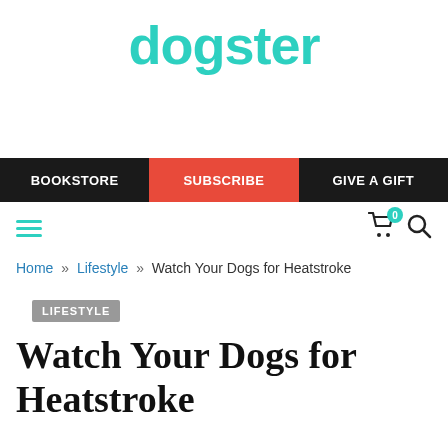dogster
[Figure (other): Navigation bar with BOOKSTORE, SUBSCRIBE (red background), and GIVE A GIFT links on dark background]
Home » Lifestyle » Watch Your Dogs for Heatstroke
LIFESTYLE
Watch Your Dogs for Heatstroke